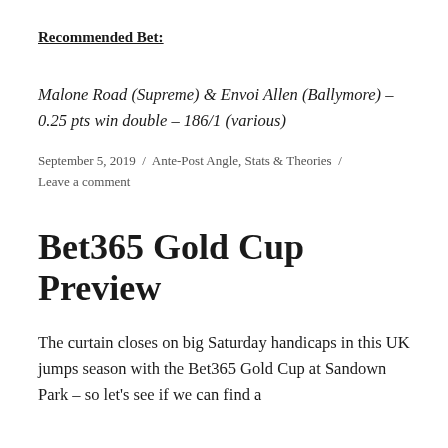Recommended Bet:
Malone Road (Supreme) & Envoi Allen (Ballymore) – 0.25 pts win double – 186/1 (various)
September 5, 2019 / Ante-Post Angle, Stats & Theories / Leave a comment
Bet365 Gold Cup Preview
The curtain closes on big Saturday handicaps in this UK jumps season with the Bet365 Gold Cup at Sandown Park – so let's see if we can find a